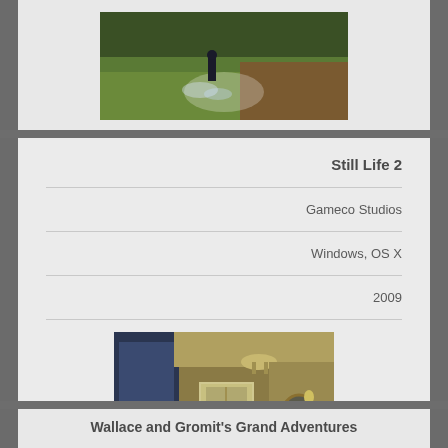[Figure (screenshot): Top portion of a game screenshot showing an outdoor scene with green grass/field area and a character, partially cropped]
Still Life 2
Gameco Studios
Windows, OS X
2009
[Figure (screenshot): Interior scene from Still Life 2 showing a dimly lit room with wooden floors, walls, a door, and a female character standing in the center]
Wallace and Gromit's Grand Adventures